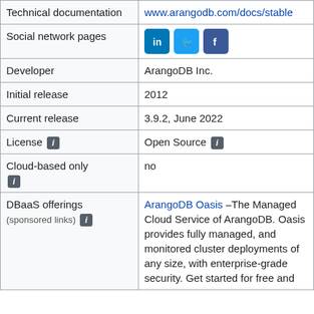| Field | Value |
| --- | --- |
| Technical documentation | www.arangodb.com/docs/stable |
| Social network pages | [LinkedIn, Twitter, Facebook icons] |
| Developer | ArangoDB Inc. |
| Initial release | 2012 |
| Current release | 3.9.2, June 2022 |
| License [i] | Open Source [i] |
| Cloud-based only [i] | no |
| DBaaS offerings (sponsored links) [i] | ArangoDB Oasis –The Managed Cloud Service of ArangoDB. Oasis provides fully managed, and monitored cluster deployments of any size, with enterprise-grade security. Get started for free and ... |